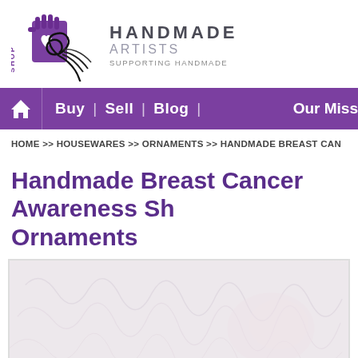[Figure (logo): Shop Handmade Artists logo with hand silhouette and decorative swirl. Text: HANDMADE ARTISTS SUPPORTING HANDMADE]
Buy | Sell | Blog | Our Miss
HOME >> HOUSEWARES >> ORNAMENTS >> HANDMADE BREAST CAN
Handmade Breast Cancer Awareness Sh Ornaments
[Figure (photo): Product photo thumbnail showing breast cancer awareness ornaments on a light floral/textured background]